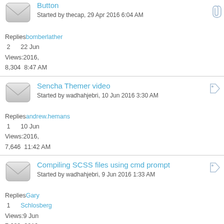Button
Started by thecap, 29 Apr 2016 6:04 AM
Replies: 2  Views: 8,304  bomberlather  22 Jun 2016, 8:47 AM
Sencha Themer video
Started by wadhahjebri, 10 Jun 2016 3:30 AM
Replies: 1  Views: 7,646  andrew.hemans  10 Jun 2016, 11:42 AM
Compiling SCSS files using cmd prompt
Started by wadhahjebri, 9 Jun 2016 1:33 AM
Replies: 1  Views: 7,683  Gary Schlosberg  9 Jun 2016, 5:42 AM